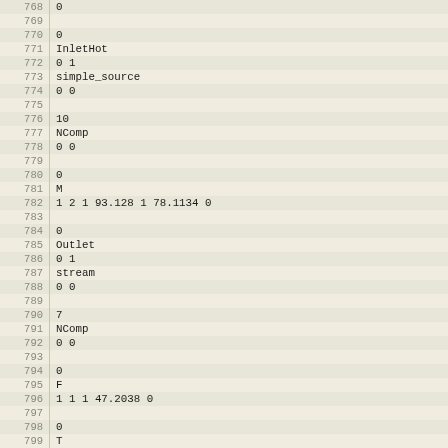| line | code |
| --- | --- |
| 768 | 0 |
| 769 |  |
| 770 | 0 |
| 771 | InletHot |
| 772 | 0 1 |
| 773 | simple_source |
| 774 | 0 0 |
| 775 |  |
| 776 | 10 |
| 777 | NComp |
| 778 | 0 0 |
| 779 |  |
| 780 | 0 |
| 781 | M |
| 782 | 1 2 1 93.128 1 78.1134 0 |
| 783 |  |
| 784 | 0 |
| 785 | Outlet |
| 786 | 0 1 |
| 787 | stream |
| 788 | 0 0 |
| 789 |  |
| 790 | 7 |
| 791 | NComp |
| 792 | 0 0 |
| 793 |  |
| 794 | 0 |
| 795 | F |
| 796 | 1 1 1 47.2038 0 |
| 797 |  |
| 798 | 0 |
| 799 | T |
| 800 | ... |